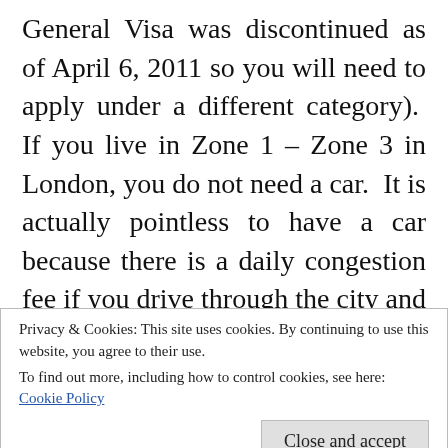General Visa was discontinued as of April 6, 2011 so you will need to apply under a different category).  If you live in Zone 1 – Zone 3 in London, you do not need a car.  It is actually pointless to have a car because there is a daily congestion fee if you drive through the city and parking and gas are expensive.  You are paying gas by the litre! With regards to cell phones, initially I was on a pay as you go plan in the UK.  I did this because I was unsure on whether I would be staying in London.  Once I decided to stay for the long term, I entered into a 2 year contract.  I believe one has to be a
Privacy & Cookies: This site uses cookies. By continuing to use this website, you agree to their use.
To find out more, including how to control cookies, see here:
Cookie Policy
Close and accept
(i.e. job, salary, living conditions, etc.)?